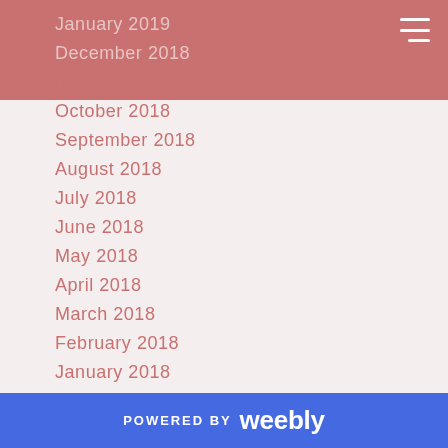January 2019
December 2018
November 2018
October 2018
September 2018
August 2018
July 2018
June 2018
May 2018
April 2018
March 2018
February 2018
January 2018
December 2017
November 2017
October 2017
September 2017
August 2017
July 2017
POWERED BY weebly